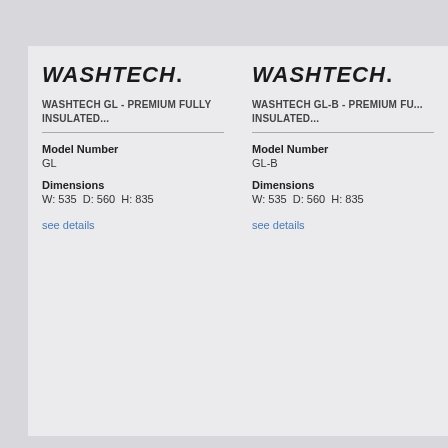[Figure (logo): WASHTECH logo in bold italic black text with period]
WASHTECH GL - PREMIUM FULLY INSULATED...
Model Number
GL
Dimensions
W: 535  D: 560  H: 835
see details
[Figure (logo): WASHTECH logo in bold italic black text with period]
WASHTECH GL-B - PREMIUM FULLY INSULATED...
Model Number
GL-B
Dimensions
W: 535  D: 560  H: 835
see details